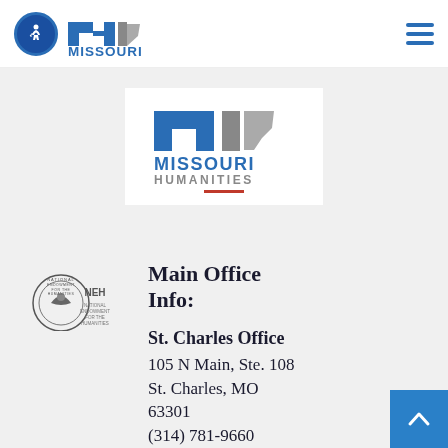[Figure (logo): Missouri Humanities logo with accessibility icon in header navigation bar]
[Figure (logo): Missouri Humanities large logo with red underline accent on grey background card]
[Figure (logo): National Endowment for the Humanities (NEH) seal logo]
Main Office Info:
St. Charles Office
105 N Main, Ste. 108
St. Charles, MO 63301
(314) 781-9660